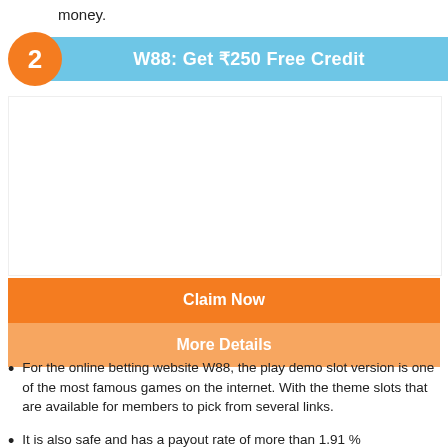money.
W88: Get ₹250 Free Credit
[Figure (other): W88 promotional banner or screenshot (white/blank area)]
Claim Now
More Details
For the online betting website W88, the play demo slot version is one of the most famous games on the internet. With the theme slots that are available for members to pick from several links.
It is also safe and has a payout rate of more than 1.91 % with a free credit of ₹250 as a guarantee of return.